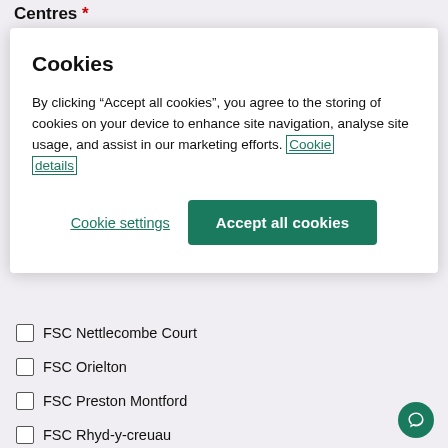Centres *
Cookies
By clicking “Accept all cookies”, you agree to the storing of cookies on your device to enhance site navigation, analyse site usage, and assist in our marketing efforts. Cookie details
Cookie settings
Accept all cookies
FSC Nettlecombe Court
FSC Orielton
FSC Preston Montford
FSC Rhyd-y-creuau